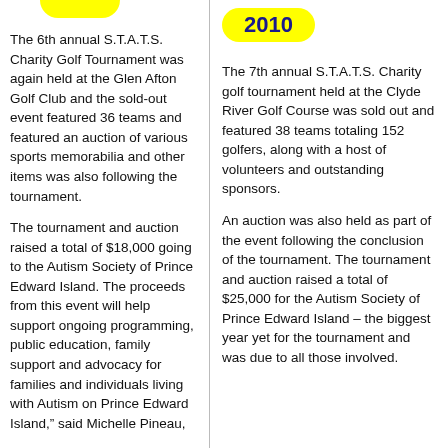The 6th annual S.T.A.T.S. Charity Golf Tournament was again held at the Glen Afton Golf Club and the sold-out event featured 36 teams and featured an auction of various sports memorabilia and other items was also following the tournament.
The tournament and auction raised a total of $18,000 going to the Autism Society of Prince Edward Island. The proceeds from this event will help support ongoing programming, public education, family support and advocacy for families and individuals living with Autism on Prince Edward Island," said Michelle Pineau,
2010
The 7th annual S.T.A.T.S. Charity golf tournament held at the Clyde River Golf Course was sold out and featured 38 teams totaling 152 golfers, along with a host of volunteers and outstanding sponsors.
An auction was also held as part of the event following the conclusion of the tournament. The tournament and auction raised a total of $25,000 for the Autism Society of Prince Edward Island – the biggest year yet for the tournament and was due to all those involved.